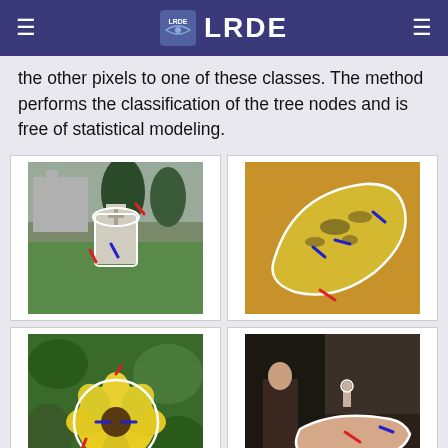LRDE
the other pixels to one of these classes. The method performs the classification of the tree nodes and is free of statistical modeling.
[Figure (photo): A gravestone with white outline segmentation overlay and red/blue annotation marks on a grassy cemetery background]
[Figure (photo): A banana with white outline segmentation overlay and red/blue annotation marks on an orange/yellow background]
[Figure (photo): A yellow flower with white outline segmentation overlay and red/blue annotation marks on a green leafy background]
[Figure (photo): A reclining nude figure from a painting with white outline segmentation overlay and red/blue annotation marks on a dark background]